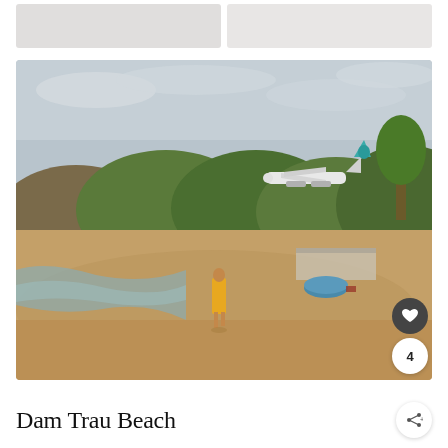[Figure (photo): Two partial thumbnail images side by side at top of page, mostly white/light colored]
[Figure (photo): Beach scene photo: woman in yellow outfit standing on sandy beach, a teal/white airplane flying low overhead against cloudy sky, green forested hills in background, a blue circular boat on the sand, waves lapping at the shore]
Dam Trau Beach